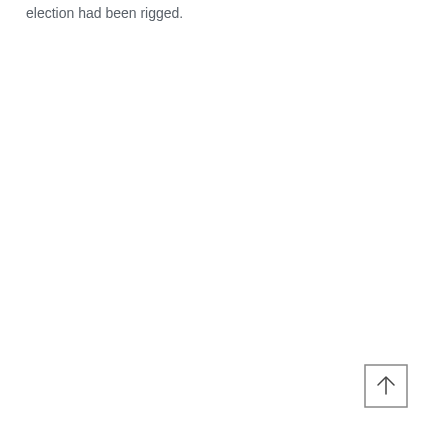election had been rigged.
[Figure (other): A square button icon with an upward-pointing arrow (back to top button), positioned in the lower-right area of the page.]